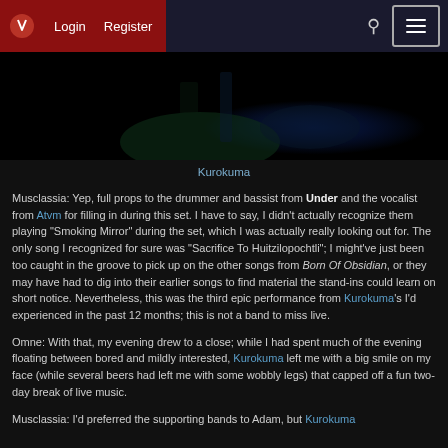Login  Register
[Figure (photo): Dark concert photo with green and blue stage lighting, partial view of performers on stage]
Kurokuma
Musclassia: Yep, full props to the drummer and bassist from Under and the vocalist from Atvm for filling in during this set. I have to say, I didn't actually recognize them playing "Smoking Mirror" during the set, which I was actually really looking out for. The only song I recognized for sure was "Sacrifice To Huitzilopochtli"; I might've just been too caught in the groove to pick up on the other songs from Born Of Obsidian, or they may have had to dig into their earlier songs to find material the stand-ins could learn on short notice. Nevertheless, this was the third epic performance from Kurokuma's I'd experienced in the past 12 months; this is not a band to miss live.
Omne: With that, my evening drew to a close; while I had spent much of the evening floating between bored and mildly interested, Kurokuma left me with a big smile on my face (while several beers had left me with some wobbly legs) that capped off a fun two-day break of live music.
Musclassia: I'd preferred the supporting bands to Adam, but Kurokuma